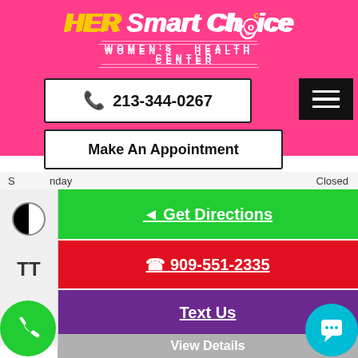[Figure (logo): HER Smart Choice Women's Health Center logo on pink background]
213-344-0267
Make An Appointment
Sunday   Closed
◄ Get Directions
909-551-2335
Text Us
Make An Appointment
View Details